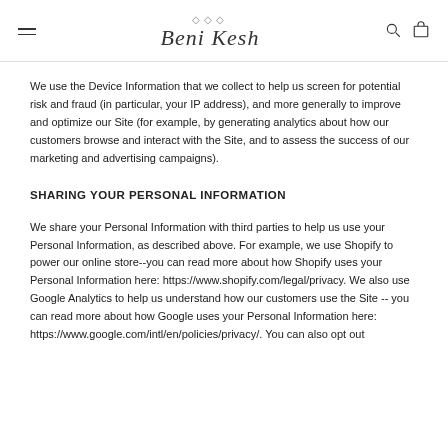Beni Kesh
We use the Device Information that we collect to help us screen for potential risk and fraud (in particular, your IP address), and more generally to improve and optimize our Site (for example, by generating analytics about how our customers browse and interact with the Site, and to assess the success of our marketing and advertising campaigns).
SHARING YOUR PERSONAL INFORMATION
We share your Personal Information with third parties to help us use your Personal Information, as described above. For example, we use Shopify to power our online store--you can read more about how Shopify uses your Personal Information here: https://www.shopify.com/legal/privacy. We also use Google Analytics to help us understand how our customers use the Site -- you can read more about how Google uses your Personal Information here: https://www.google.com/intl/en/policies/privacy/. You can also opt out